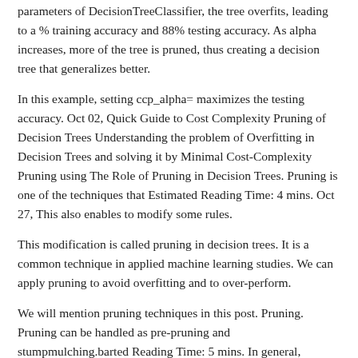parameters of DecisionTreeClassifier, the tree overfits, leading to a % training accuracy and 88% testing accuracy. As alpha increases, more of the tree is pruned, thus creating a decision tree that generalizes better.
In this example, setting ccp_alpha= maximizes the testing accuracy. Oct 02, Quick Guide to Cost Complexity Pruning of Decision Trees Understanding the problem of Overfitting in Decision Trees and solving it by Minimal Cost-Complexity Pruning using The Role of Pruning in Decision Trees. Pruning is one of the techniques that Estimated Reading Time: 4 mins. Oct 27, This also enables to modify some rules.
This modification is called pruning in decision trees. It is a common technique in applied machine learning studies. We can apply pruning to avoid overfitting and to over-perform.
We will mention pruning techniques in this post. Pruning. Pruning can be handled as pre-pruning and stumpmulching.barted Reading Time: 5 mins. In general, pruning is a process to remove selected parts of a plant such as bud, branches or perform pruning a decision tree.